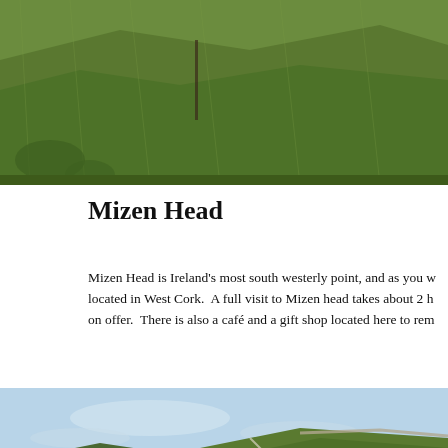[Figure (photo): Green grassy hillside landscape photo, partially cropped at top of page]
Mizen Head
Mizen Head is Ireland’s most south westerly point, and as you w located in West Cork.  A full visit to Mizen head takes about 2 h on offer.  There is also a café and a gift shop located here to rem
[Figure (photo): Coastal landscape photo showing Mizen Head with green hills, blue sky, bridge arch structure and walkways visible]